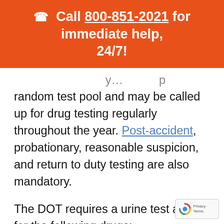☎ Call 800-851-2021 for immediate help, 24/7!
random test pool and may be called up for drug testing regularly throughout the year. Post-accident, probationary, reasonable suspicion, and return to duty testing are also mandatory.
The DOT requires a urine test and t[runcated] for the following drugs: